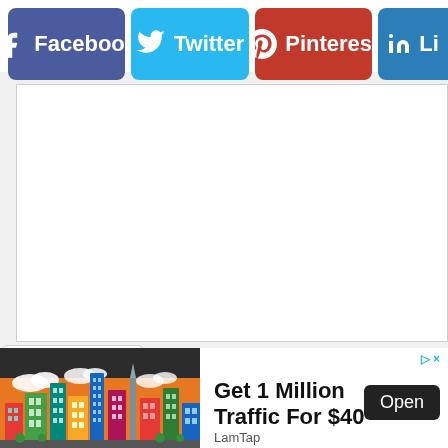[Figure (screenshot): Social share buttons row: Facebook (blue-purple), Twitter (light blue), Pinterest (red), LinkedIn (blue, partially cropped)]
[Figure (other): White content area, mostly blank]
[Figure (other): Collapse/chevron down button]
[Figure (infographic): Advertisement banner: colorful city skyline illustration on dark background, text 'Get 1 Million Traffic For $40', company 'LamTap', Open button]